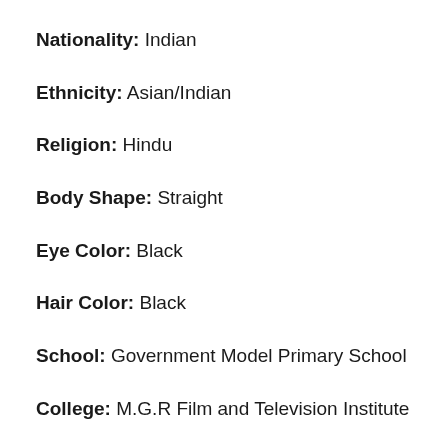Nationality: Indian
Ethnicity: Asian/Indian
Religion: Hindu
Body Shape: Straight
Eye Color: Black
Hair Color: Black
School: Government Model Primary School
College: M.G.R Film and Television Institute